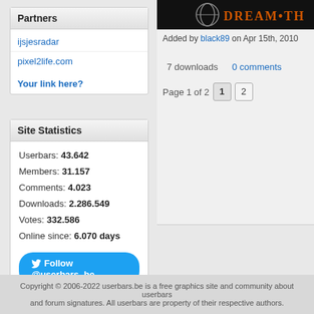Partners
ijsjesradar
pixel2life.com
Your link here?
[Figure (other): Dream Theater banner image, dark background with logo and band name in stylized text]
Added by black89 on Apr 15th, 2010
7 downloads   0 comments
Page 1 of 2   1  2
Site Statistics
Userbars: 43.642
Members: 31.157
Comments: 4.023
Downloads: 2.286.549
Votes: 332.586
Online since: 6.070 days
Follow @userbars_be
Copyright © 2006-2022 userbars.be is a free graphics site and community about userbars and forum signatures. All userbars are property of their respective authors.